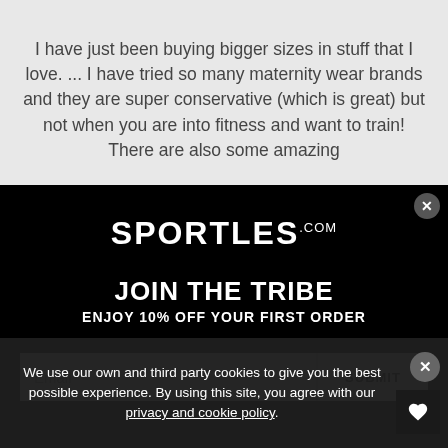I have just been buying bigger sizes in stuff that I love. ... I have tried so many maternity wear brands and they are super conservative (which is great) but not when you are into fitness and want to train! There are also some amazing
[Figure (screenshot): Modal popup on Sportles.com with black background, showing logo, 'JOIN THE TRIBE' heading, 'ENJOY 10% OFF YOUR FIRST ORDER' subheading, email input box and SUBMIT button]
We use our own and third party cookies to give you the best possible experience. By using this site, you agree with our privacy and cookie policy.